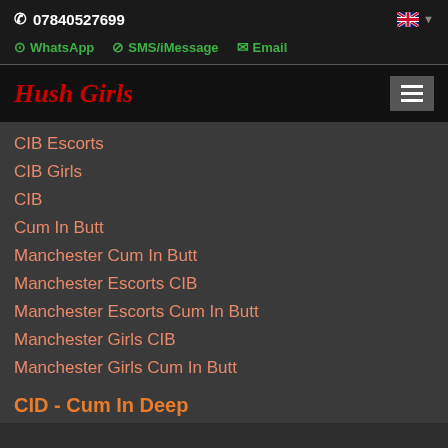07840527699
WhatsApp   SMS/iMessage   Email
Hush Girls
CIB Escorts
CIB Girls
CIB
Cum In Butt
Manchester Cum In Butt
Manchester Escorts CIB
Manchester Escorts Cum In Butt
Manchester Girls CIB
Manchester Girls Cum In Butt
CID - Cum In Deep